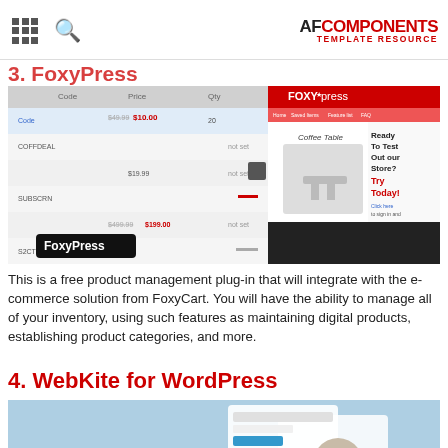AF COMPONENTS TEMPLATE RESOURCE
3. FoxyPress
[Figure (screenshot): Screenshot of FoxyPress WordPress plugin showing product management admin panel on the left side and the FoxyPress storefront on the right side with 'Ready To Test Out our Store? Try Today!' call to action. FoxyPress label visible at bottom left.]
This is a free product management plug-in that will integrate with the e-commerce solution from FoxyCart. You will have the ability to manage all of your inventory, using such features as maintaining digital products, establishing product categories, and more.
4. WebKite for WordPress
[Figure (screenshot): Screenshot of WebKite for WordPress plugin showing a light blue background with 'Dynamic Content' text in white and overlapping device mockup screenshots on the right side.]